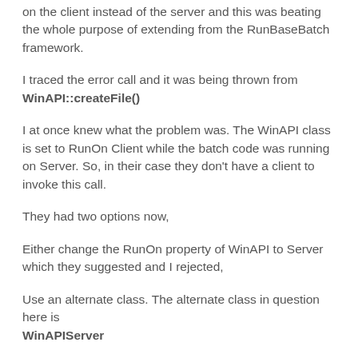on the client instead of the server and this was beating the whole purpose of extending from the RunBaseBatch framework.
I traced the error call and it was being thrown from WinAPI::createFile()
I at once knew what the problem was. The WinAPI class is set to RunOn Client while the batch code was running on Server. So, in their case they don't have a client to invoke this call.
They had two options now,
Either change the RunOn property of WinAPI to Server which they suggested and I rejected,
Use an alternate class. The alternate class in question here is WinAPIServer
That concludes the...